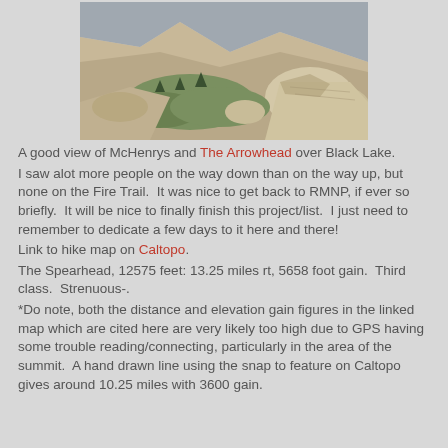[Figure (photo): Mountain landscape showing rocky terrain with boulders, sparse vegetation and trees in a valley, viewed from above. Rocky granite slopes visible with green shrubs.]
A good view of McHenrys and The Arrowhead over Black Lake.
I saw alot more people on the way down than on the way up, but none on the Fire Trail.  It was nice to get back to RMNP, if ever so briefly.  It will be nice to finally finish this project/list.  I just need to remember to dedicate a few days to it here and there!
Link to hike map on Caltopo.
The Spearhead, 12575 feet: 13.25 miles rt, 5658 foot gain.  Third class.  Strenuous-.
*Do note, both the distance and elevation gain figures in the linked map which are cited here are very likely too high due to GPS having some trouble reading/connecting, particularly in the area of the summit.  A hand drawn line using the snap to feature on Caltopo gives around 10.25 miles with 3600 gain.